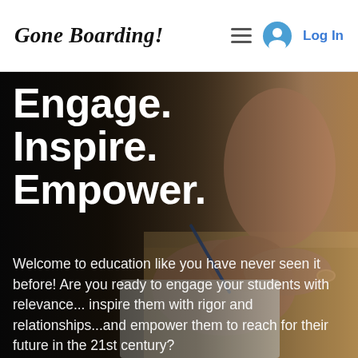Gone Boarding! [hamburger menu] [user icon] Log In
Engage. Inspire. Empower.
Welcome to education like you have never seen it before! Are you ready to engage your students with relevance... inspire them with rigor and relationships...and empower them to reach for their future in the 21st century?
[Figure (photo): Close-up photo of hands working on a wooden board surface, with a pencil and paper, dark background on left]